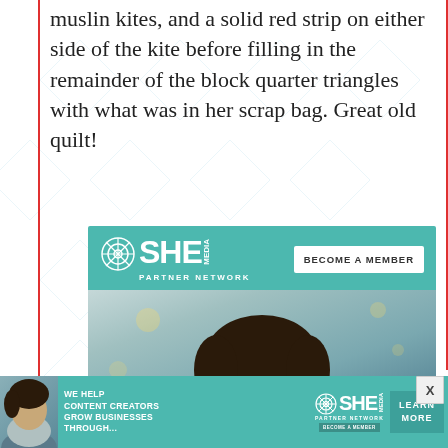muslin kites, and a solid red strip on either side of the kite before filling in the remainder of the block quarter triangles with what was in her scrap bag. Great old quilt!
[Figure (illustration): SHE Media Partner Network advertisement. Teal/turquoise background with SHE Media logo and 'BECOME A MEMBER' button at top. Photo of a smiling woman with glasses and curly hair using a tablet. Text reads 'WE HELP CONTENT CREATORS GROW BUSINESSES THROUGH...' with a 'LEARN MORE' button.]
[Figure (illustration): Bottom banner ad: SHE Media Partner Network. Photo of woman on left, tagline 'WE HELP CONTENT CREATORS GROW BUSINESSES THROUGH...' in center, SHE logo, and 'LEARN MORE' button on right.]